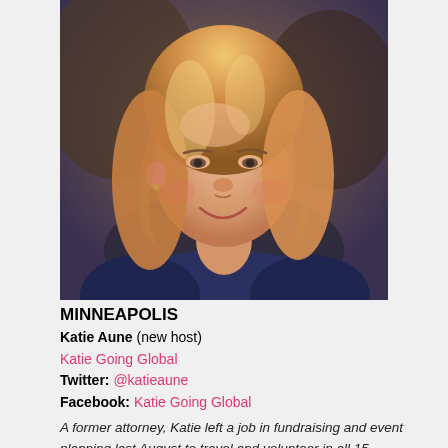[Figure (photo): Headshot photo of Katie Aune, a woman with blonde/auburn hair smiling, wearing a dark blue top, photographed indoors with a warm-toned blurred background.]
MINNEAPOLIS
Katie Aune (new host)
Katie Going Global
Twitter: @katieaune
Facebook: Katie Going Global
A former attorney, Katie left a job in fundraising and event planning last August to travel and volunteer in all 15 countries of the former Soviet Union. She will return home in September after a 13-month career break that included running a marathon in Estonia, teaching English in Russia and Tajikistan, volunteering with the